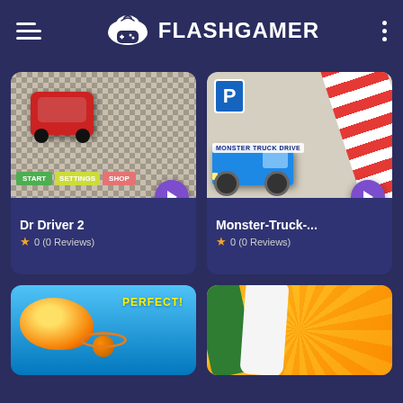FLASHGAMER
[Figure (screenshot): Dr Driver 2 game thumbnail showing a top-down car driving game with checkered road, red car, and START / SETTINGS / SHOP buttons]
Dr Driver 2
★ 0 (0 Reviews)
[Figure (screenshot): Monster-Truck game thumbnail showing a blue monster truck with parking sign and orange striped cone]
Monster-Truck-...
★ 0 (0 Reviews)
[Figure (screenshot): Basketball game thumbnail with blue sky background, fireball, basketball hoop, PERFECT! text]
[Figure (screenshot): Ludo or slime game thumbnail with yellow/orange gradient background and colorful game pieces]